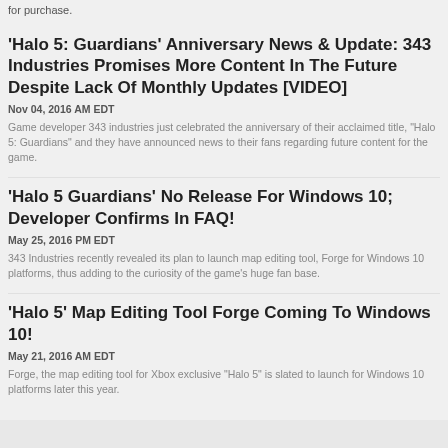for purchase.
'Halo 5: Guardians' Anniversary News & Update: 343 Industries Promises More Content In The Future Despite Lack Of Monthly Updates [VIDEO]
Nov 04, 2016 AM EDT
Game developer 343 industries just celebrated the anniversary of their acclaimed title, "Halo 5: Guardians" and they have announced news to their fans regarding future content for the game.
'Halo 5 Guardians' No Release For Windows 10; Developer Confirms In FAQ!
May 25, 2016 PM EDT
343 Industries recently revealed its plan to launch map editing tool, Forge for Windows 10 platforms, thus adding to the curiosity of the game's huge fan base.
'Halo 5' Map Editing Tool Forge Coming To Windows 10!
May 21, 2016 AM EDT
Forge, the map editing tool for Xbox exclusive "Halo 5" is slated to launch for Windows 10 platforms later this year.